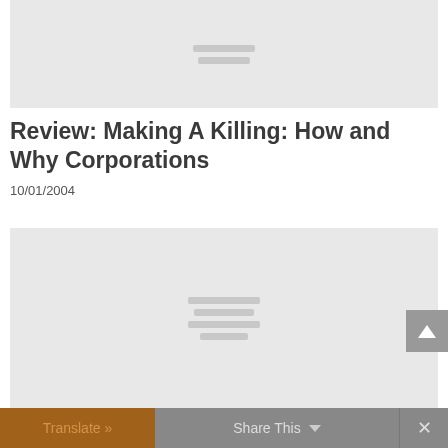[Figure (other): Image placeholder at top of page — gray rectangle with horizontal placeholder lines indicating a loading or unavailable image]
Review: Making A Killing: How and Why Corporations
10/01/2004
[Figure (other): Image placeholder in lower portion of page — gray rectangle with horizontal placeholder lines indicating a loading or unavailable image]
Translate »  Share This  ✕